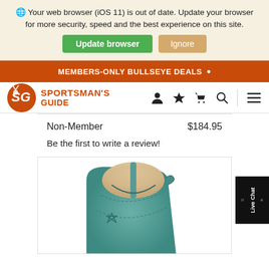⚙ Your web browser (iOS 11) is out of date. Update your browser for more security, speed and the best experience on this site.
Update browser   Ignore
MEMBERS-ONLY BULLSEYE DEALS
[Figure (logo): Sportsman's Guide logo with orange circle SG initials and orange text reading SPORTSMAN'S GUIDE, plus navigation icons: person, star, cart, search, menu]
Non-Member    $184.95
Be the first to write a review!
[Figure (photo): Close-up top view of a teal/turquoise cowboy boot showing the shaft opening with decorative stitching and light tan interior lining]